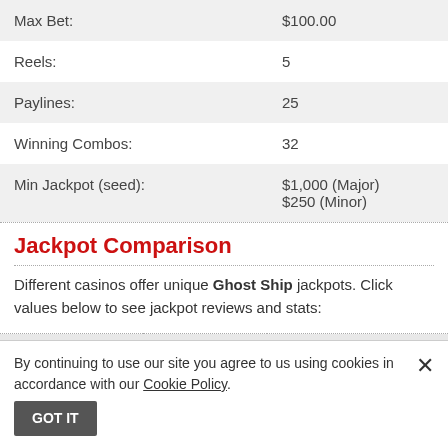| Max Bet: | $100.00 |
| Reels: | 5 |
| Paylines: | 25 |
| Winning Combos: | 32 |
| Min Jackpot (seed): | $1,000 (Major)
$250 (Minor) |
Jackpot Comparison
Different casinos offer unique Ghost Ship jackpots. Click values below to see jackpot reviews and stats:
| Casino | Value | SCORE ▲ |
| --- | --- | --- |
By continuing to use our site you agree to us using cookies in accordance with our Cookie Policy.